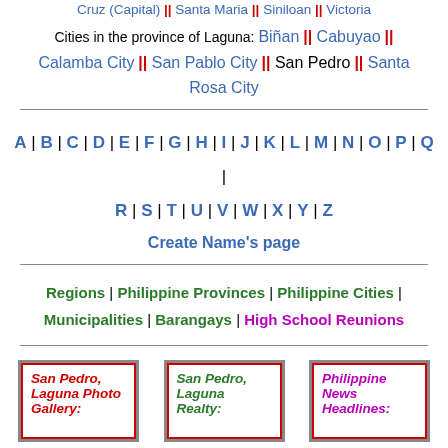Cruz (Capital) || Santa Maria || Siniloan || Victoria
Cities in the province of Laguna: Biñan || Cabuyao || Calamba City || San Pablo City || San Pedro || Santa Rosa City
A | B | C | D | E | F | G | H | I | J | K | L | M | N | O | P | Q | R | S | T | U | V | W | X | Y | Z
Create Name's page
Regions | Philippine Provinces | Philippine Cities | Municipalities | Barangays | High School Reunions
[Figure (other): Card: San Pedro, Laguna Photo Gallery - red italic bold text on white background with red border and grey outer border]
[Figure (other): Card: San Pedro, Laguna Realty - green italic bold text on white background with red border and grey outer border]
[Figure (other): Card: Philippine News Headlines - purple italic bold text on white background with red border and grey outer border]